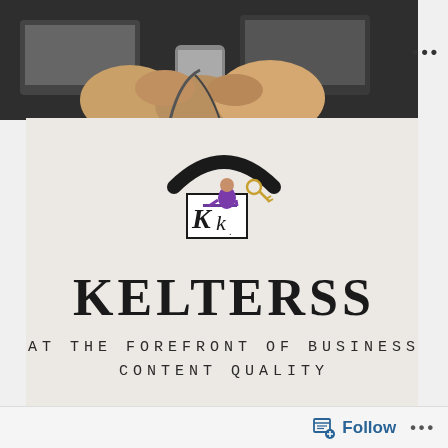[Figure (photo): Top photo showing hands doing a fist bump over laptops and a phone on a desk, partially cropped]
[Figure (logo): Kelterss logo: wifi-style arc symbol above a small figure at a desk inside a rectangular frame with stylized Kk lettering]
KELTERSS
AT THE FOREFRONT OF BUSINESS CONTENT QUALITY
Follow ...